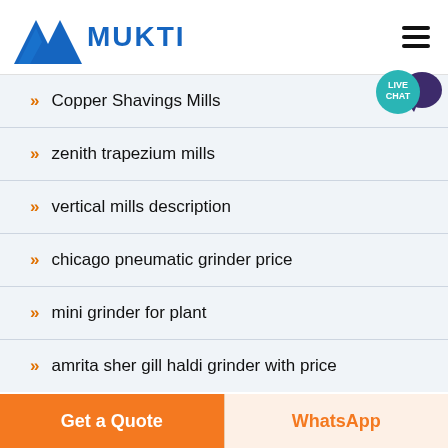MUKTI
Copper Shavings Mills
zenith trapezium mills
vertical mills description
chicago pneumatic grinder price
mini grinder for plant
amrita sher gill haldi grinder with price
Get a Quote | WhatsApp